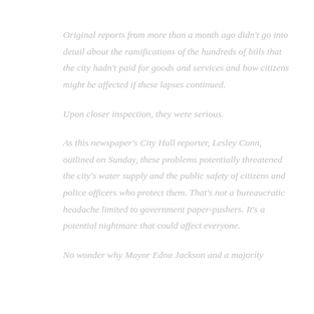Original reports from more than a month ago didn't go into detail about the ramifications of the hundreds of bills that the city hadn't paid for goods and services and how citizens might be affected if these lapses continued.
Upon closer inspection, they were serious.
As this newspaper's City Hall reporter, Lesley Conn, outlined on Sunday, these problems potentially threatened the city's water supply and the public safety of citizens and police officers who protect them. That's not a bureaucratic headache limited to government paper-pushers. It's a potential nightmare that could affect everyone.
No wonder why Mayor Edna Jackson and a majority